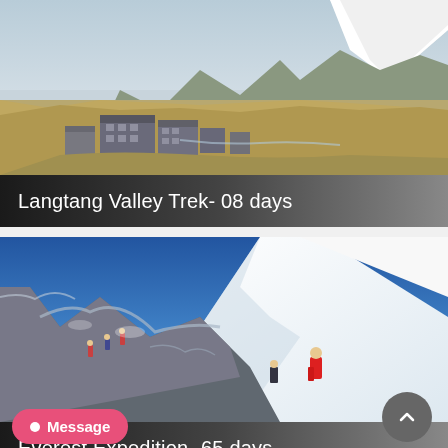[Figure (photo): Mountain village with stone buildings nestled in a wide Himalayan valley with snow-capped peaks in the background, brown grassy slopes, Langtang region, Nepal]
Langtang Valley Trek- 08 days
[Figure (photo): Mountaineers climbing a steep rocky snow-covered ridge on a high Himalayan peak, with a large white summit in the background and blue sky, Everest region]
Everest Expedition- 65 days